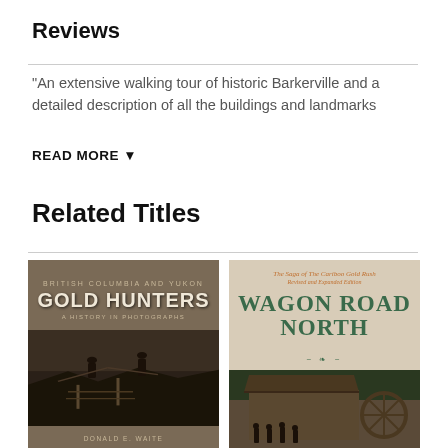Reviews
"An extensive walking tour of historic Barkerville and a detailed description of all the buildings and landmarks
READ MORE ▼
Related Titles
[Figure (photo): Book cover: Gold Hunters — British Columbia and Yukon: A History in Photographs, by Donald E. Waite. Sepia-toned cover with historic mining photograph.]
[Figure (photo): Book cover: Wagon Road North — The Saga of The Cariboo Gold Rush, Revised and Expanded Edition. Beige cover with green decorative title text and historic photograph of a building with a water wheel.]